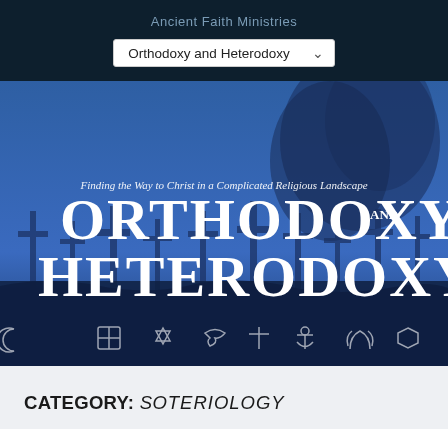Ancient Faith Ministries
Orthodoxy and Heterodoxy
[Figure (illustration): Book cover image for 'Orthodoxy and Heterodoxy: Finding the Way to Christ in a Complicated Religious Landscape' by Ancient Faith Ministries. Blue background with silhouettes of crosses and religious symbols along the bottom. Large white serif text displays the title across two lines, with smaller italic subtitle above.]
CATEGORY: SOTERIOLOGY